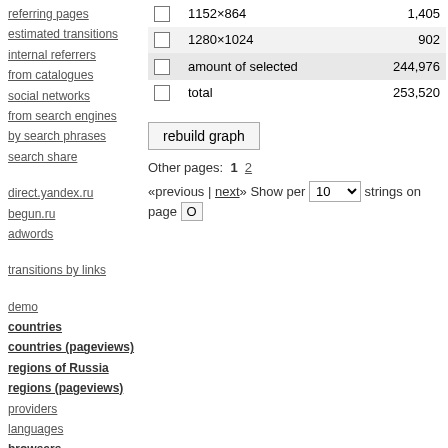referring pages
estimated transitions
internal referrers
from catalogues
social networks
from search engines
by search phrases
search share
direct.yandex.ru
begun.ru
adwords
transitions by links
demo
countries
countries (pageviews)
regions of Russia
regions (pageviews)
providers
languages
browsers
OS
resolution
number of colours
|  | Resolution | Count |
| --- | --- | --- |
|  | 1152×864 | 1,405 |
|  | 1280×1024 | 902 |
|  | amount of selected | 244,976 |
|  | total | 253,520 |
rebuild graph
Other pages: 1 2
«previous | next» Show per 10 strings on page O